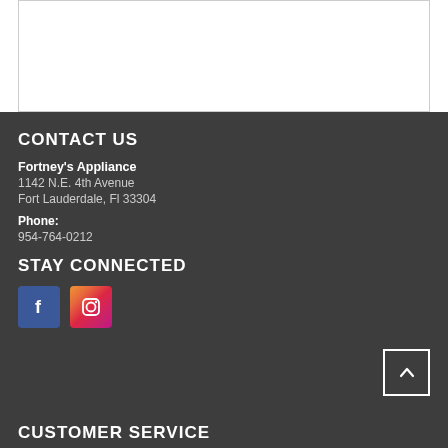[Figure (other): White box with border outline at top of page]
CONTACT US
Fortney's Appliance
1142 N.E. 4th Avenue
Fort Lauderdale, Fl 33304
Phone:
954-764-0212
STAY CONNECTED
[Figure (other): Facebook icon (blue square with white f) and Instagram icon (gradient square with camera outline)]
CUSTOMER SERVICE